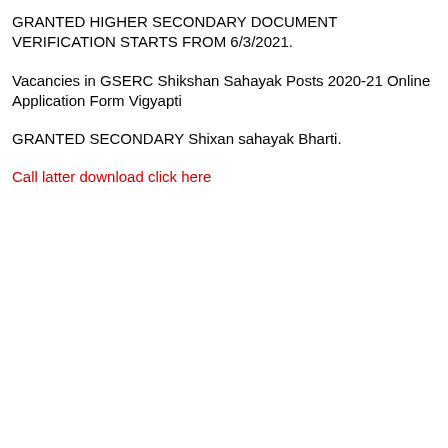GRANTED HIGHER SECONDARY DOCUMENT VERIFICATION STARTS FROM 6/3/2021.
Vacancies in GSERC Shikshan Sahayak Posts 2020-21 Online Application Form Vigyapti
GRANTED SECONDARY Shixan sahayak Bharti.
Call latter download click here